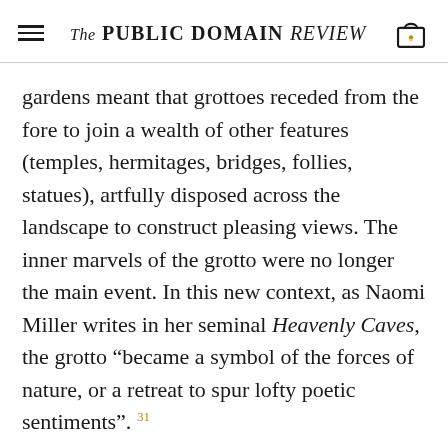The PUBLIC DOMAIN REVIEW
gardens meant that grottoes receded from the fore to join a wealth of other features (temples, hermitages, bridges, follies, statues), artfully disposed across the landscape to construct pleasing views. The inner marvels of the grotto were no longer the main event. In this new context, as Naomi Miller writes in her seminal Heavenly Caves, the grotto “became a symbol of the forces of nature, or a retreat to spur lofty poetic sentiments”. 31
This new treatment of the grotto is evident in